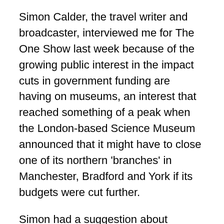Simon Calder, the travel writer and broadcaster, interviewed me for The One Show last week because of the growing public interest in the impact cuts in government funding are having on museums, an interest that reached something of a peak when the London-based Science Museum announced that it might have to close one of its northern 'branches' in Manchester, Bradford and York if its budgets were cut further.
Simon had a suggestion about admission charges. He agrees that admission charges for British taxpayers would lead to a drop in the number of people who visit museums, which cannot be a good thing, so he wasn't advocating that. And we can't charge EU citizens if we don't charge British citizens, according to EU law. His proposal is that that we should charge non-EU citizens only.
It is true that international tourists are used to